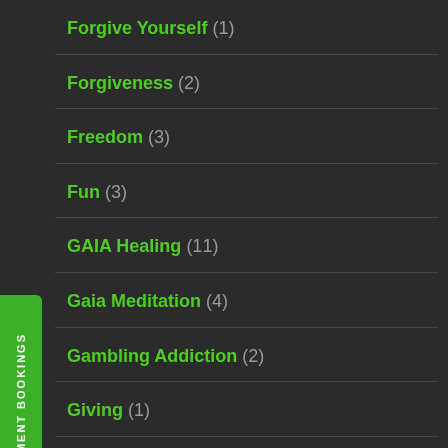Forgive Yourself (1)
Forgiveness (2)
Freedom (3)
Fun (3)
GAIA Healing (11)
Gaia Meditation (4)
Gambling Addiction (2)
Giving (1)
Glossophobia (1)
Goals (1)
Gratitude (10)